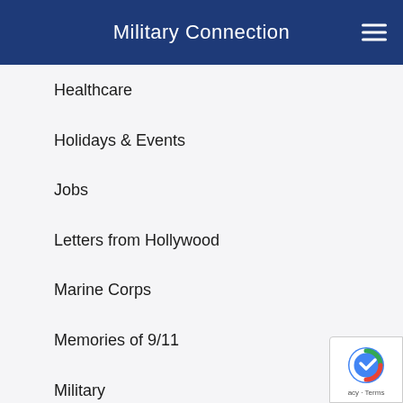Military Connection
Healthcare
Holidays & Events
Jobs
Letters from Hollywood
Marine Corps
Memories of 9/11
Military
Military Branches
Military Family
Military History